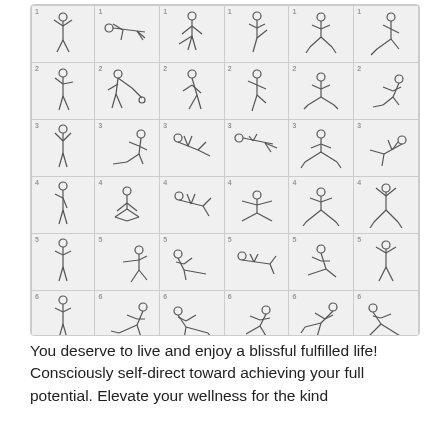[Figure (illustration): A 6x6 grid of numbered exercise/stretching stick figure illustrations showing various body positions and movements, numbered rows 1-6]
You deserve to live and enjoy a blissful fulfilled life! Consciously self-direct toward achieving your full potential. Elevate your wellness for the kind